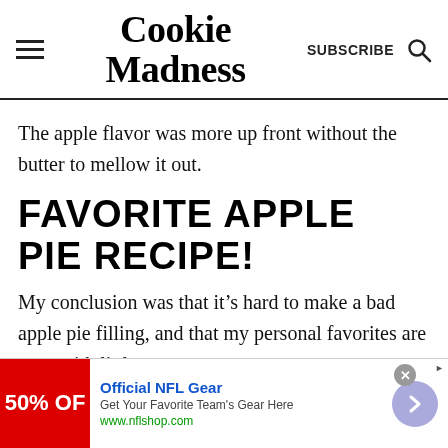Cookie Madness
The apple flavor was more up front without the butter to mellow it out.
FAVORITE APPLE PIE RECIPE!
My conclusion was that it’s hard to make a bad apple pie filling, and that my personal favorites are ones with little or
[Figure (infographic): Advertisement banner for Official NFL Gear showing 50% OFF in red, with text 'Get Your Favorite Team’s Gear Here' and URL www.nflshop.com, with a forward arrow button]